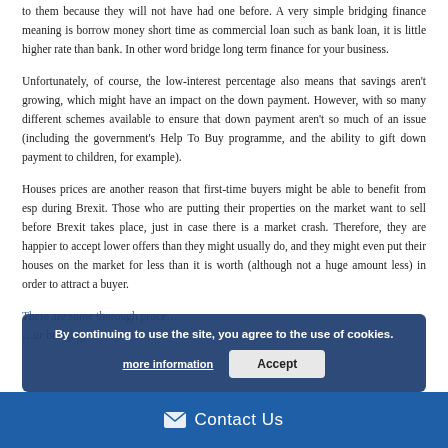to them because they will not have had one before. A very simple bridging finance meaning is borrow money short time as commercial loan such as bank loan, it is little higher rate than bank. In other word bridge long term finance for your business.
Unfortunately, of course, the low-interest percentage also means that savings aren't growing, which might have an impact on the down payment. However, with so many different schemes available to ensure that down payment aren't so much of an issue (including the government's Help To Buy programme, and the ability to gift down payment to children, for example).
Houses prices are another reason that first-time buyers might be able to benefit from esp during Brexit. Those who are putting their properties on the market want to sell before Brexit takes place, just in case there is a market crash. Therefore, they are happier to accept lower offers than they might usually do, and they might even put their houses on the market for less than it is worth (although not a huge amount less) in order to attract a buyer.
There are some thorough proce… …ur bridging
By continuing to use the site, you agree to the use of cookies.
more information
Accept
Contact Us